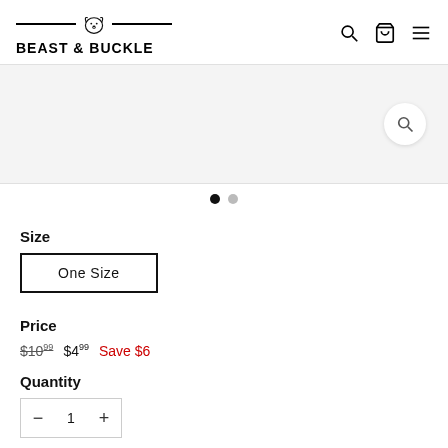BEAST & BUCKLE
[Figure (screenshot): Product image area with a search/zoom icon on the right side, light gray background]
• (carousel dots: filled and empty)
Size
One Size
Price
$10.99  $4.99  Save $6
Quantity
- 1 +